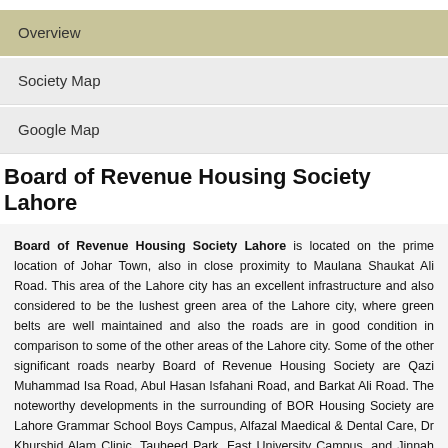Overview
Society Map
Google Map
Board of Revenue Housing Society Lahore
Board of Revenue Housing Society Lahore is located on the prime location of Johar Town, also in close proximity to Maulana Shaukat Ali Road. This area of the Lahore city has an excellent infrastructure and also considered to be the lushest green area of the Lahore city, where green belts are well maintained and also the roads are in good condition in comparison to some of the other areas of the Lahore city. Some of the other significant roads nearby Board of Revenue Housing Society are Qazi Muhammad Isa Road, Abul Hasan Isfahani Road, and Barkat Ali Road. The noteworthy developments in the surrounding of BOR Housing Society are Lahore Grammar School Boys Campus, Alfazal Maedical & Dental Care, Dr Khurshid Alam Clinic, Tauheed Park, Fast University Campus, and Jinnah Hospital is also situated in extreme nearness to Board of Revenue Housing Society. Furthermore, lucrative factors to consider about BOR is approach to Canal Raod, Thokar Niaz Baig And Kalma Chowk is very easy because of the positioning of